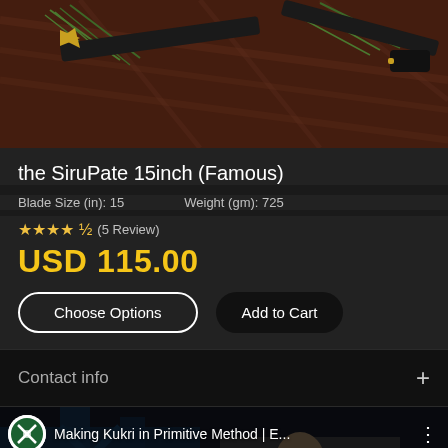[Figure (photo): Product photo showing kukri knives with gold tips on a dark brown textured background with green pine leaves]
the SiruPate 15inch (Famous)
Blade Size (in): 15    Weight (gm): 725
★★★★½ (5 Review)
USD 115.00
Choose Options | Add to Cart
Contact info
[Figure (screenshot): YouTube video thumbnail showing 'Making Kukri in Primitive Method | E...' with a craftsman working]